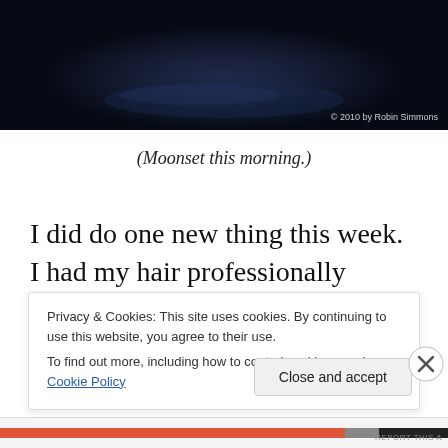[Figure (photo): Dark nighttime/dawn photo banner, likely a moonset sky scene. Copyright notice reads '© 2010 by Robin Simmons'.]
(Moonset this morning.)
I did do one new thing this week.  I had my hair professionally colored three different shades of color (chestnut, red, and blonde).  I like it.  A lot.  It's too
Privacy & Cookies: This site uses cookies. By continuing to use this website, you agree to their use.
To find out more, including how to control cookies, see here: Cookie Policy
[Close and accept]